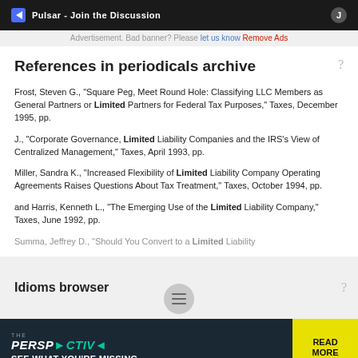[Figure (screenshot): Top advertisement banner with Pulsar branding on dark background]
Advertisement. Bad banner? Please let us know Remove Ads
References in periodicals archive
Frost, Steven G., "Square Peg, Meet Round Hole: Classifying LLC Members as General Partners or Limited Partners for Federal Tax Purposes," Taxes, December 1995, pp.
J., "Corporate Governance, Limited Liability Companies and the IRS's View of Centralized Management," Taxes, April 1993, pp.
Miller, Sandra K., "Increased Flexibility of Limited Liability Company Operating Agreements Raises Questions About Tax Treatment," Taxes, October 1994, pp.
and Harris, Kenneth L., "The Emerging Use of the Limited Liability Company," Taxes, June 1992, pp.
Summa, Jeffrey D., "Should You Convert to a Limited Liability
Idioms browser
[Figure (screenshot): Bottom advertisement banner for The Perspective with READ MORE button]